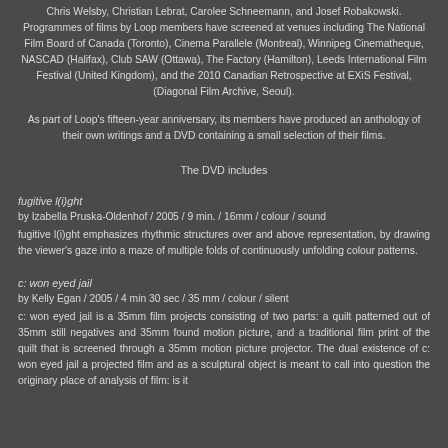Chris Welsby, Christian Lebrat, Carolee Schneemann, and Josef Robakowski. Programmes of films by Loop members have screened at venues including The National Film Board of Canada (Toronto), Cinema Parallele (Montreal), Winnipeg Cinematheque, NASCAD (Halifax), Club SAW (Ottawa), The Factory (Hamilton), Leeds International Film Festival (United Kingdom), and the 2010 Canadian Retrospective at EXiS Festival, (Diagonal Film Archive, Seoul).
As part of Loop's fifteen-year anniversary, its members have produced an anthology of their own writings and a DVD containing a small selection of their films.
The DVD includes
fugitive l(i)ght
by Izabella Pruska-Oldenhof / 2005 / 9 min. / 16mm / colour / sound
fugitive l(i)ght emphasizes rhythmic structures over and above representation, by drawing the viewer's gaze into a maze of multiple folds of continuously unfolding colour patterns.
c: won eyed jail
by Kelly Egan  / 2005 / 4 min 30 sec  / 35 mm / colour / silent
c: won eyed jail is a 35mm film projects consisting of two parts: a quilt patterned out of 35mm still negatives and 35mm found motion picture, and a traditional film print of the quilt that is screened through a 35mm motion picture projector. The dual existence of c: won eyed jail a projected film and as a sculptural object is meant to call into question the originary place of analysis of film: is it